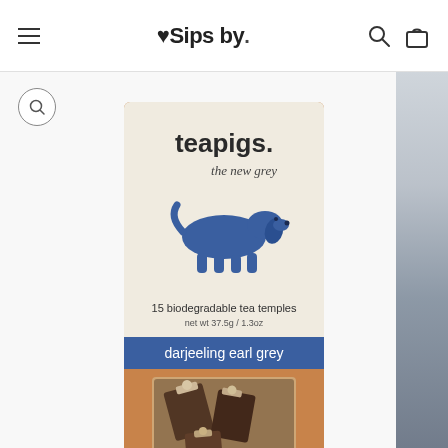♥ Sips by
[Figure (photo): Teapigs Darjeeling Earl Grey tea package — a brown kraft paper bag with a cream label showing a blue dachshund illustration, the text 'teapigs. the new grey', '15 biodegradable tea temples', 'net wt 37.5g / 1.3oz', a blue banner reading 'darjeeling earl grey', a clear window showing tea bags inside, and 'teapigs.' at the bottom of the bag.]